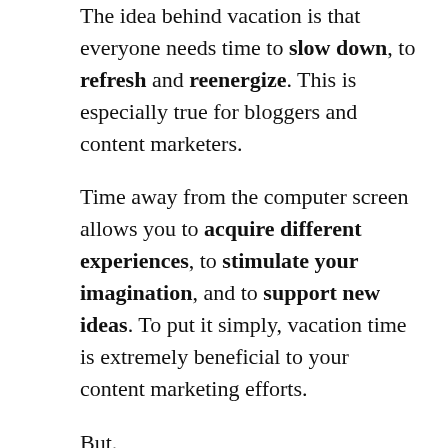The idea behind vacation is that everyone needs time to slow down, to refresh and re-energize. This is especially true for bloggers and content marketers.
Time away from the computer screen allows you to acquire different experiences, to stimulate your imagination, and to support new ideas. To put it simply, vacation time is extremely beneficial to your content marketing efforts.
But.
Who will feed the sheep?